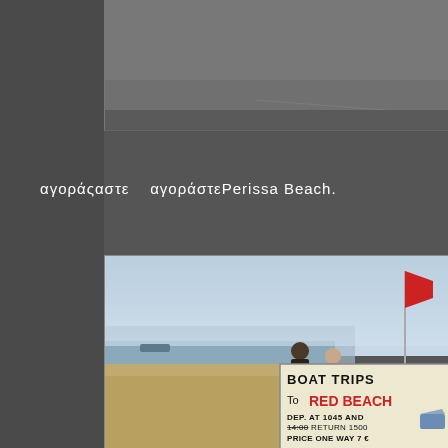[Figure (photo): Partial photo visible at top right of page, appears to show a gray/concrete surface, cropped at the bottom]
αγορά    αγοράστεPerissa Beach.
[Figure (photo): Beach scene at Perissa Beach showing a 'BOAT TRIPS TO RED BEACH' sign with details: DEP AT 1045 AND 14:00 RETURN 1500, PRICE ONE WAY 7€. A red flag on a pole is visible in the background along with the sea, sky, and two people standing near the sign.]